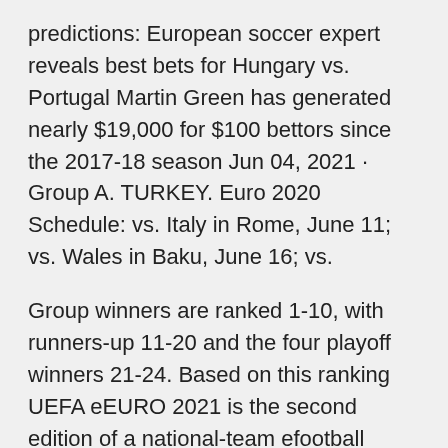predictions: European soccer expert reveals best bets for Hungary vs. Portugal Martin Green has generated nearly $19,000 for $100 bettors since the 2017-18 season Jun 04, 2021 · Group A. TURKEY. Euro 2020 Schedule: vs. Italy in Rome, June 11; vs. Wales in Baku, June 16; vs.
Group winners are ranked 1-10, with runners-up 11-20 and the four playoff winners 21-24. Based on this ranking UEFA eEURO 2021 is the second edition of a national-team efootball competition featuring all 55 UEFA national associations. The competition involves a qualification phase and a final tournament But for the Euro 2020 finals, this was based purely on a nation's record in qualifying. Group winners are ranked 1-10, runners-up 11-20 and the four playoff winners 21-24 to compete the four spots Euro 2020 playoff draws out